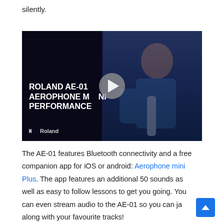silently.
[Figure (screenshot): Roland AE-01 Aerophone mini Performance video thumbnail. A man in a blue t-shirt plays a wind instrument against a dark background. A play button overlay is centered. White bold text reads 'ROLAND AE-01 AEROPHONE mini PERFORMANCE'. Roland logo in bottom left.]
The AE-01 features Bluetooth connectivity and a free companion app for iOS or android: Aerophone mini Plus. The app features an additional 50 sounds as well as easy to follow lessons to get you going. You can even stream audio to the AE-01 so you can ja along with your favourite tracks!